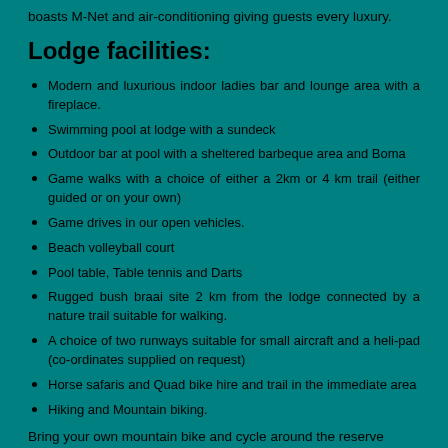boasts M-Net and air-conditioning giving guests every luxury.
Lodge facilities:
Modern and luxurious indoor ladies bar and lounge area with a fireplace.
Swimming pool at lodge with a sundeck
Outdoor bar at pool with a sheltered barbeque area and Boma
Game walks with a choice of either a 2km or 4 km trail (either guided or on your own)
Game drives in our open vehicles.
Beach volleyball court
Pool table, Table tennis and Darts
Rugged bush braai site 2 km from the lodge connected by a nature trail suitable for walking.
A choice of two runways suitable for small aircraft and a heli-pad (co-ordinates supplied on request)
Horse safaris and Quad bike hire and trail in the immediate area
Hiking and Mountain biking.
Bring your own mountain bike and cycle around the reserve